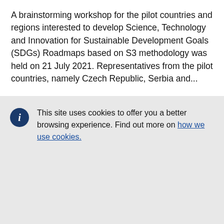A brainstorming workshop for the pilot countries and regions interested to develop Science, Technology and Innovation for Sustainable Development Goals (SDGs) Roadmaps based on S3 methodology was held on 21 July 2021. Representatives from the pilot countries, namely Czech Republic, Serbia and...
This site uses cookies to offer you a better browsing experience. Find out more on how we use cookies.
Accept all cookies
Accept only essential cookies